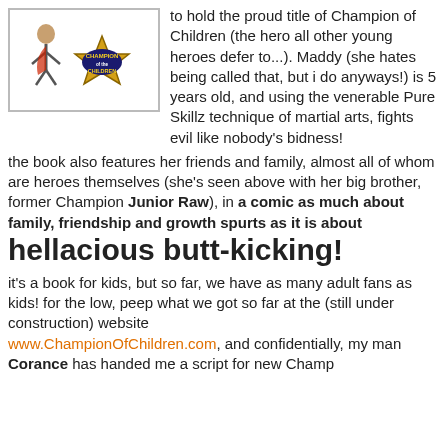[Figure (illustration): Champion of Children logo/badge with cartoon character]
to hold the proud title of Champion of Children (the hero all other young heroes defer to...). Maddy (she hates being called that, but i do anyways!) is 5 years old, and using the venerable Pure Skillz technique of martial arts, fights evil like nobody's bidness!
the book also features her friends and family, almost all of whom are heroes themselves (she's seen above with her big brother, former Champion Junior Raw), in a comic as much about family, friendship and growth spurts as it is about hellacious butt-kicking!
it's a book for kids, but so far, we have as many adult fans as kids! for the low, peep what we got so far at the (still under construction) website www.ChampionOfChildren.com, and confidentially, my man Corance has handed me a script for new Champ